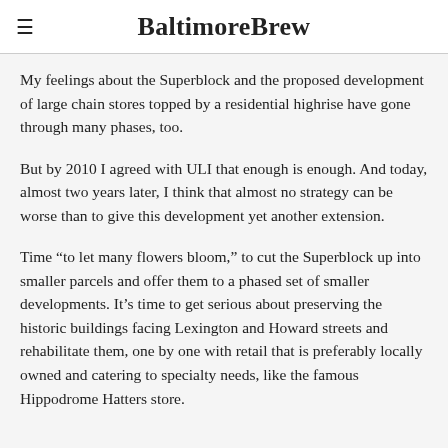BaltimoreBrew
My feelings about the Superblock and the proposed development of large chain stores topped by a residential highrise have gone through many phases, too.
But by 2010 I agreed with ULI that enough is enough. And today, almost two years later, I think that almost no strategy can be worse than to give this development yet another extension.
Time “to let many flowers bloom,” to cut the Superblock up into smaller parcels and offer them to a phased set of smaller developments. It’s time to get serious about preserving the historic buildings facing Lexington and Howard streets and rehabilitate them, one by one with retail that is preferably locally owned and catering to specialty needs, like the famous Hippodrome Hatters store.